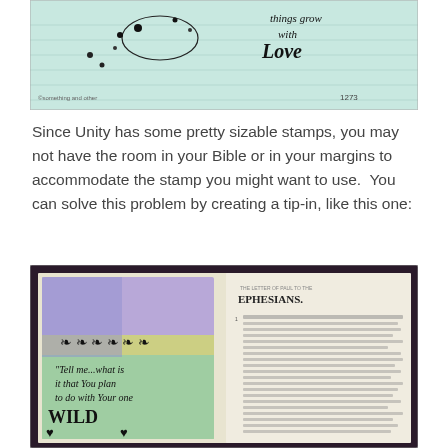[Figure (photo): Photo of a Bible page with watercolor and rubber stamp art. Shows decorative stamping with floral/bird motifs and cursive text reading 'things grow with Love'. Page number 1273 is visible.]
Since Unity has some pretty sizable stamps, you may not have the room in your Bible or in your margins to accommodate the stamp you might want to use.  You can solve this problem by creating a tip-in, like this one:
[Figure (photo): Photo of an open Bible with a decorative tip-in card. The tip-in features a colorful watercolor background (purple, yellow, teal) with flower stamps and handwritten text reading: "Tell me...what is it that You plan to do with Your one WILD" with hearts. The right page shows Ephesians text.]